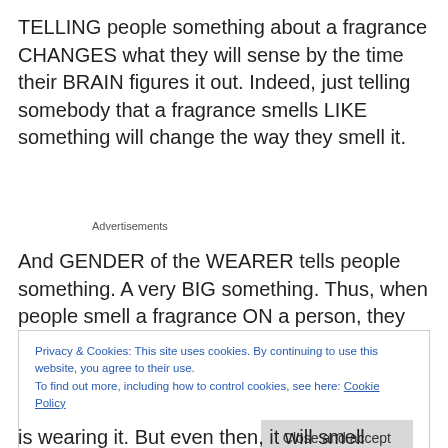TELLING people something about a fragrance CHANGES what they will sense by the time their BRAIN figures it out. Indeed, just telling somebody that a fragrance smells LIKE something will change the way they smell it.
Advertisements
And GENDER of the WEARER tells people something. A very BIG something. Thus, when people smell a fragrance ON a person, they will SMELL IT DIFFERENTLY,
Privacy & Cookies: This site uses cookies. By continuing to use this website, you agree to their use.
To find out more, including how to control cookies, see here: Cookie Policy
is wearing it. But even then, it will smell differently to